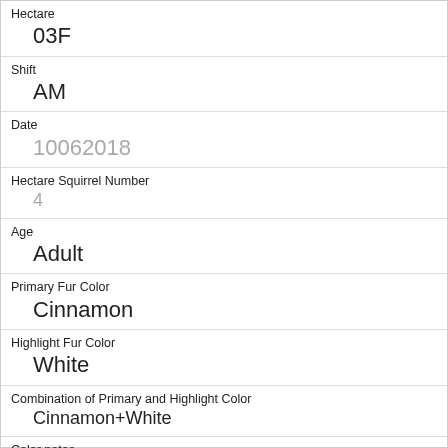| Field | Value |
| --- | --- |
| Hectare | 03F |
| Shift | AM |
| Date | 10062018 |
| Hectare Squirrel Number | 4 |
| Age | Adult |
| Primary Fur Color | Cinnamon |
| Highlight Fur Color | White |
| Combination of Primary and Highlight Color | Cinnamon+White |
| Color notes |  |
| Location | Ground Plane |